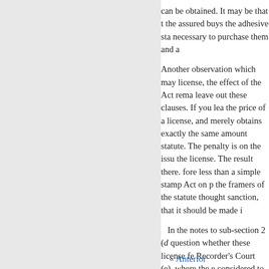can be obtained. It may be that the assured buys the adhesive sta necessary to purchase them and a
Another observation which may license, the effect of the Act rema leave out these clauses. If you lea the price of a license, and merely obtains exactly the same amount statute. The penalty is on the issu the license. The result there. fore less than a simple stamp Act on p the framers of the statute thought sanction, that it should be made i
In the notes to sub-section 2 (d question whether these license fe Recorder's Court (e), where the e considered to be, in effect, that a
(e) 17 S. C. R. 495.
« Anterior